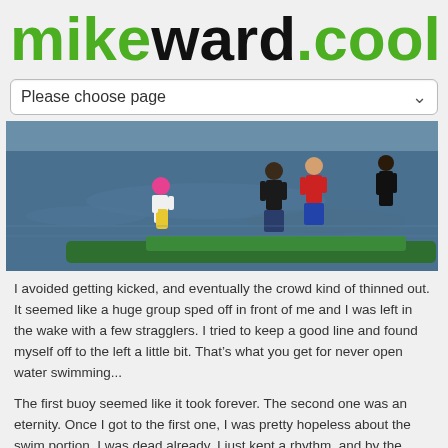mikeward.cool
Please choose page
[Figure (photo): People standing near water and green kayaks/boats. One person wearing a pink cap and yellow vest, others in athletic wear.]
I avoided getting kicked, and eventually the crowd kind of thinned out. It seemed like a huge group sped off in front of me and I was left in the wake with a few stragglers. I tried to keep a good line and found myself off to the left a little bit. That's what you get for never open water swimming...
The first buoy seemed like it took forever. The second one was an eternity. Once I got to the first one, I was pretty hopeless about the swim portion. I was dead already. I just kept a rhythm, and by the second buoy, felt really good actually. I felt like I was making good